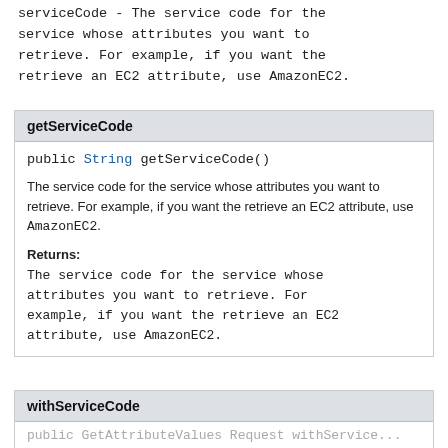serviceCode - The service code for the service whose attributes you want to retrieve. For example, if you want the retrieve an EC2 attribute, use AmazonEC2.
getServiceCode
public String getServiceCode()
The service code for the service whose attributes you want to retrieve. For example, if you want the retrieve an EC2 attribute, use AmazonEC2.
Returns:
The service code for the service whose attributes you want to retrieve. For example, if you want the retrieve an EC2 attribute, use AmazonEC2.
withServiceCode